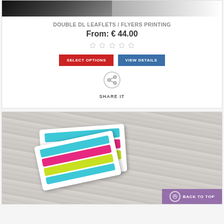[Figure (photo): Top partial image of dark and light background items]
DOUBLE DL LEAFLETS / FLYERS PRINTING
From: € 44.00
[Figure (other): 5 grey star rating icons]
SELECT OPTIONS  VIEW DETAILS
[Figure (other): Share icon (circle with nodes) and SHARE IT label]
[Figure (photo): Colorful DL leaflet printing mockup on wood background with back-to-top button overlay]